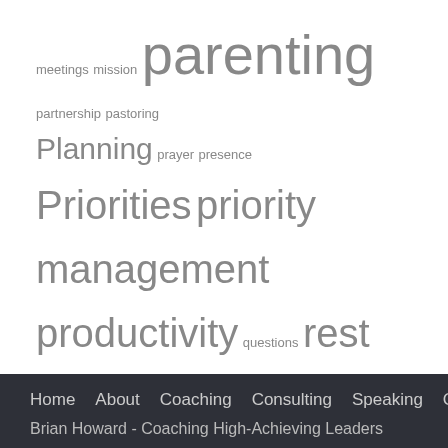[Figure (infographic): Tag cloud with words of varying sizes: meetings, mission, parenting (large), partnership, pastoring, Planning (medium), prayer, presence, Priorities (large), priority management (large), productivity (large), questions, rest (large), scheduling, strategic planning, success, texting, time management (very large), vacation (large), vision, work]
Tweets by @howardbriank
Home   About   Coaching   Consulting   Speaking   Contact
Brian Howard - Coaching High-Achieving Leaders